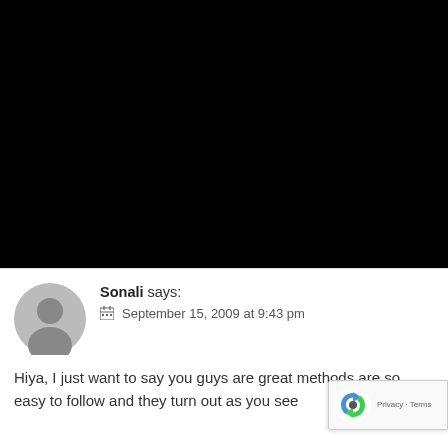[Figure (other): Large black rectangle occupying the top portion of the page (video or image placeholder)]
Sonali says:
September 15, 2009 at 9:43 pm

Hiya, I just want to say you guys are great methods are so easy to follow and they turn out as you see
[Figure (other): reCAPTCHA badge overlay in bottom-right corner showing reCAPTCHA logo and 'Privacy - Terms' text]